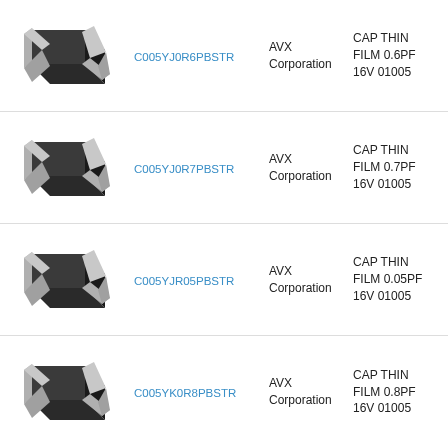| Image | Part Number | Manufacturer | Description |
| --- | --- | --- | --- |
| [capacitor image] | C005YJ0R6PBSTR | AVX Corporation | CAP THIN FILM 0.6PF 16V 01005 |
| [capacitor image] | C005YJ0R7PBSTR | AVX Corporation | CAP THIN FILM 0.7PF 16V 01005 |
| [capacitor image] | C005YJR05PBSTR | AVX Corporation | CAP THIN FILM 0.05PF 16V 01005 |
| [capacitor image] | C005YK0R8PBSTR | AVX Corporation | CAP THIN FILM 0.8PF 16V 01005 |